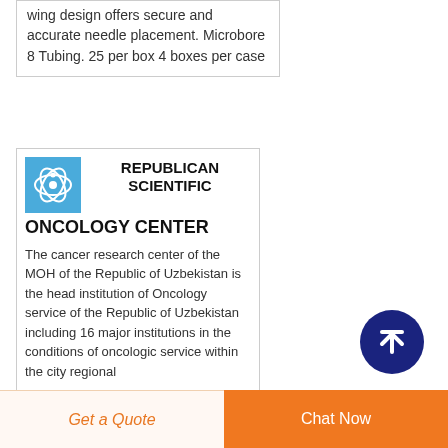wing design offers secure and accurate needle placement. Microbore 8 Tubing. 25 per box 4 boxes per case
[Figure (logo): Republican Scientific Oncology Center logo — light blue square with a stylized atom/cell graphic]
REPUBLICAN SCIENTIFIC ONCOLOGY CENTER
The cancer research center of the MOH of the Republic of Uzbekistan is the head institution of Oncology service of the Republic of Uzbekistan including 16 major institutions in the conditions of oncologic service within the city regional
[Figure (illustration): Dark blue circular scroll-to-top button with an upward arrow icon]